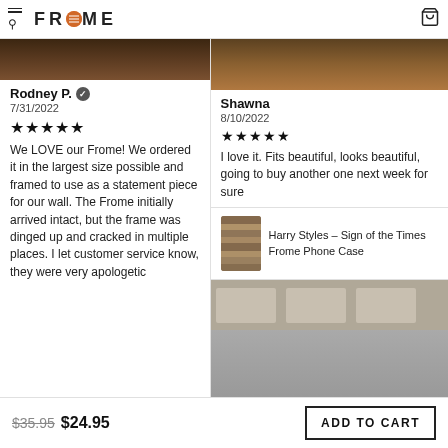FROME
[Figure (photo): Dark wood background image, top of left review card]
Rodney P. ✓
7/31/2022
★★★★★
We LOVE our Frome! We ordered it in the largest size possible and framed to use as a statement piece for our wall. The Frome initially arrived intact, but the frame was dinged up and cracked in multiple places. I let customer service know, they were very apologetic
[Figure (photo): Dark wooden shelf/furniture background image, top of right review card]
Shawna
8/10/2022
★★★★★
I love it. Fits beautiful, looks beautiful, going to buy another one next week for sure
[Figure (photo): Harry Styles - Sign of the Times Frome Phone Case product thumbnail]
Harry Styles – Sign of the Times Frome Phone Case
[Figure (photo): Gray/beige wall or product background image at bottom right]
$35.95 $24.95
ADD TO CART